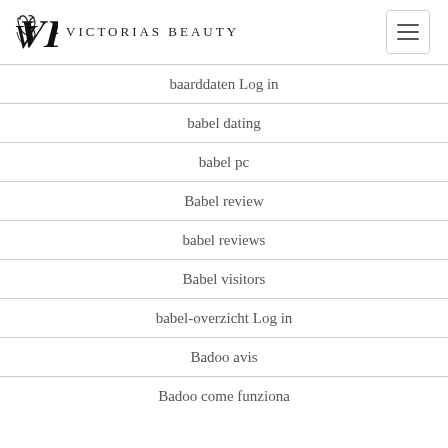Victorias Beauty
baarddaten Log in
babel dating
babel pc
Babel review
babel reviews
Babel visitors
babel-overzicht Log in
Badoo avis
Badoo come funziona